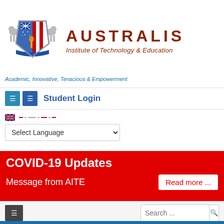[Figure (logo): Australis Institute of Technology & Education crest logo with two lions, shield with Australian and US flag elements, and torch]
AUSTRALIS Institute of Technology & Education
Academic, Innovative, Tenacious & Empowerment
Student Login
Select Language
COVID-19 Updates
Message from AITE
Read more ...
Search ...